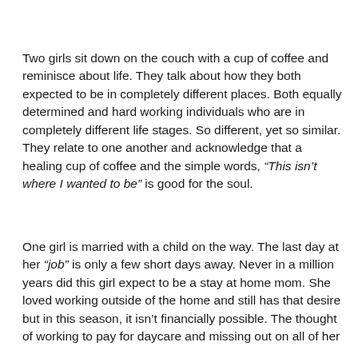Two girls sit down on the couch with a cup of coffee and reminisce about life. They talk about how they both expected to be in completely different places. Both equally determined and hard working individuals who are in completely different life stages. So different, yet so similar. They relate to one another and acknowledge that a healing cup of coffee and the simple words, “This isn’t where I wanted to be” is good for the soul.
One girl is married with a child on the way. The last day at her “job” is only a few short days away. Never in a million years did this girl expect to be a stay at home mom. She loved working outside of the home and still has that desire but in this season, it isn’t financially possible. The thought of working to pay for daycare and missing out on all of her children’s...